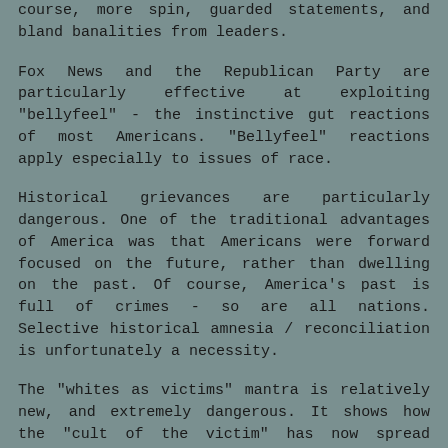course, more spin, guarded statements, and bland banalities from leaders.
Fox News and the Republican Party are particularly effective at exploiting "bellyfeel" - the instinctive gut reactions of most Americans. "Bellyfeel" reactions apply especially to issues of race.
Historical grievances are particularly dangerous. One of the traditional advantages of America was that Americans were forward focused on the future, rather than dwelling on the past. Of course, America's past is full of crimes - so are all nations. Selective historical amnesia / reconciliation is unfortunately a necessity.
The "whites as victims" mantra is relatively new, and extremely dangerous. It shows how the "cult of the victim" has now spread throughout America; furthermore, there is an expectation that victimhood will confer political or social benefits. As pointed out in other posts, many whites will invoke their ethnic orgins, claiming victimhood due to anti-Irish, or anti-Jewish, or anti-Polack discrimination. Identity